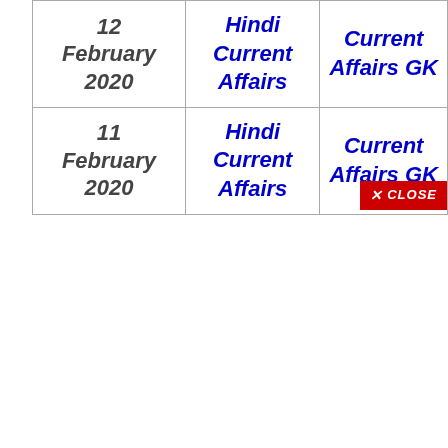| 12 February 2020 | Hindi Current Affairs | Current Affairs GK |
| 11 February 2020 | Hindi Current Affairs | Current Affairs GK |